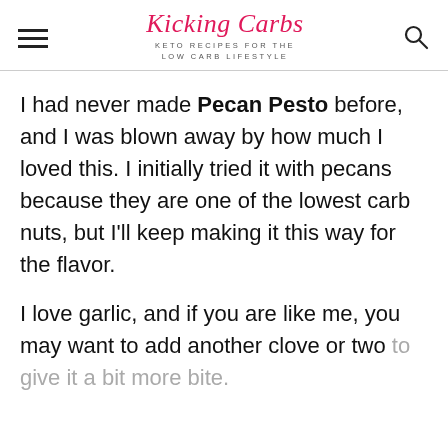Kicking Carbs — KETO RECIPES FOR THE LOW CARB LIFESTYLE
I had never made Pecan Pesto before, and I was blown away by how much I loved this. I initially tried it with pecans because they are one of the lowest carb nuts, but I'll keep making it this way for the flavor.
I love garlic, and if you are like me, you may want to add another clove or two to give it a bit more bite.